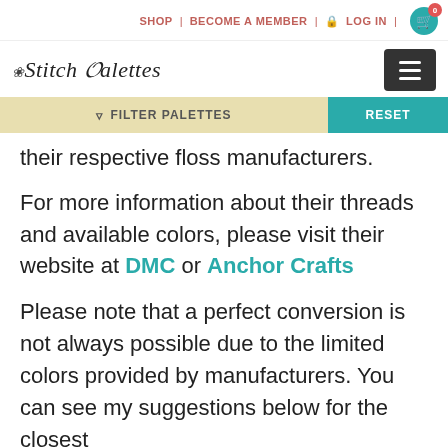SHOP | BECOME A MEMBER | LOG IN | 0
Stitch Palettes
FILTER PALETTES | RESET
their respective floss manufacturers.
For more information about their threads and available colors, please visit their website at DMC or Anchor Crafts
Please note that a perfect conversion is not always possible due to the limited colors provided by manufacturers. You can see my suggestions below for the closest